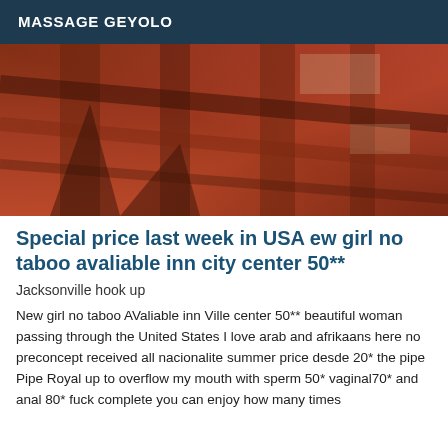MASSAGE GEYOLO
[Figure (photo): Photo of wooden staircase with reddish-brown banister, viewed from above at an angle]
Special price last week in USA ew girl no taboo avaliable inn city center 50**
Jacksonville hook up
New girl no taboo AValiable inn Ville center 50** beautiful woman passing through the United States I love arab and afrikaans here no preconcept received all nacionalite summer price desde 20* the pipe Pipe Royal up to overflow my mouth with sperm 50* vaginal70* and anal 80* fuck complete you can enjoy how many times